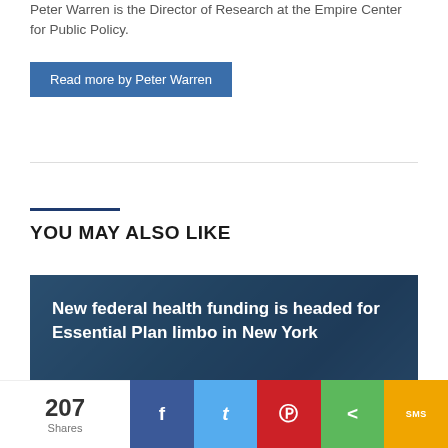Peter Warren is the Director of Research at the Empire Center for Public Policy.
Read more by Peter Warren
YOU MAY ALSO LIKE
[Figure (photo): Article card with dark blue overlay showing article about New York health funding]
New federal health funding is headed for Essential Plan limbo in New York
207 Shares